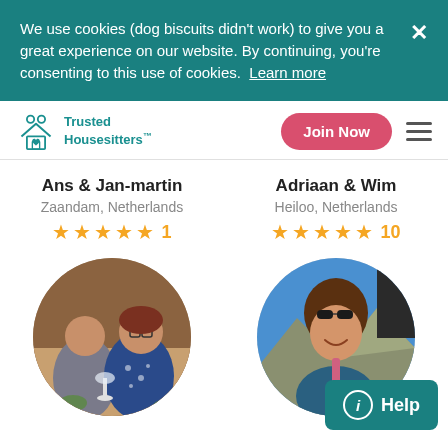We use cookies (dog biscuits didn't work) to give you a great experience on our website. By continuing, you're consenting to this use of cookies.  Learn more
[Figure (logo): Trusted Housesitters logo with teal icon and text]
Join Now
Ans & Jan-martin
Zaandam, Netherlands
★★★★★ 1
Adriaan & Wim
Heiloo, Netherlands
★★★★★ 10
[Figure (photo): Circular profile photo of a couple (older man and woman with glasses) dining at a restaurant]
[Figure (photo): Circular profile photo of a young woman smiling outdoors with mountains and blue sky]
Help